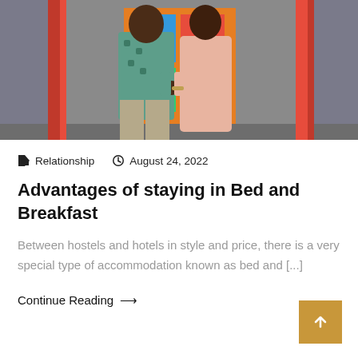[Figure (photo): A couple holding hands, man in floral shirt and khaki pants, woman in pink dress, colorful background]
🏷 Relationship   🕐 August 24, 2022
Advantages of staying in Bed and Breakfast
Between hostels and hotels in style and price, there is a very special type of accommodation known as bed and [...]
Continue Reading →